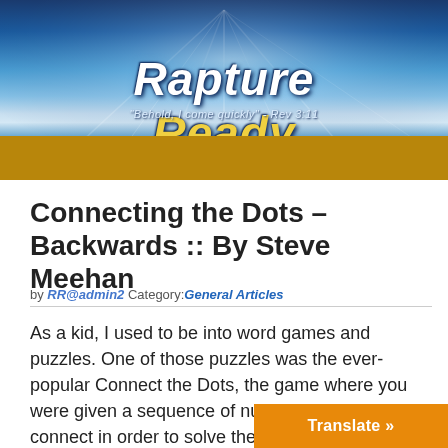[Figure (logo): Rapture Ready website banner with blue sky/clouds background, showing 'Rapture Ready' logo text and tagline 'Behold, I come quickly - Rev 3:11']
MENU
Connecting the Dots – Backwards :: By Steve Meehan
by RR@admin2 Category:General Articles
As a kid, I used to be into word games and puzzles. One of those puzzles was the ever-popular Connect the Dots, the game where you were given a sequence of numbered dots to connect in order to solve the puzzle and reveal a previously indistinguishable image. The te